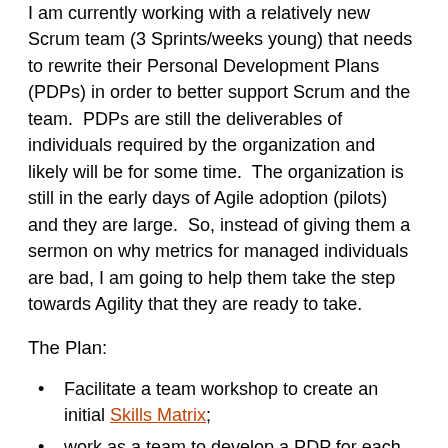I am currently working with a relatively new Scrum team (3 Sprints/weeks young) that needs to rewrite their Personal Development Plans (PDPs) in order to better support Scrum and the team.  PDPs are still the deliverables of individuals required by the organization and likely will be for some time.  The organization is still in the early days of Agile adoption (pilots) and they are large.  So, instead of giving them a sermon on why metrics for managed individuals are bad, I am going to help them take the step towards Agility that they are ready to take.
The Plan:
Facilitate a team workshop to create an initial Skills Matrix;
work as a team to develop a PDP for each individual team member that directly supports the team's high-performance Goal (already established)—
in other words, when considering an appropriate PDP per individual, the team will start with the team's